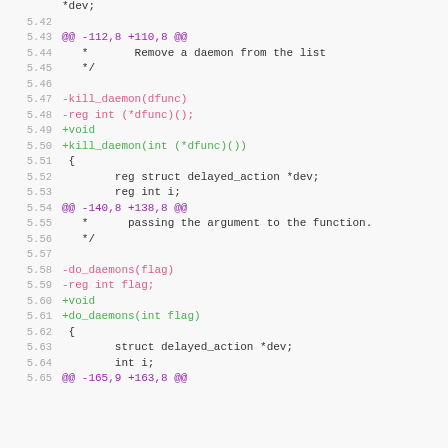Code diff showing changes to kill_daemon and do_daemons functions, with line numbers 5.42 through 5.65
Lines showing removal of implicit int return types and addition of explicit void/int return types